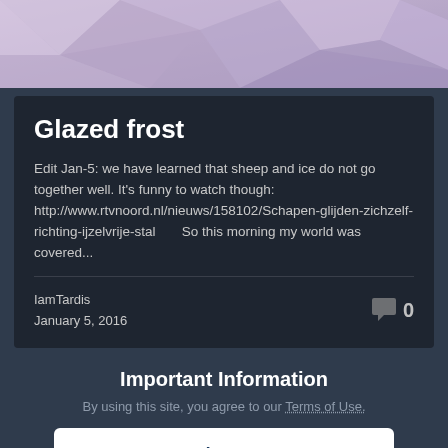[Figure (illustration): Abstract geometric polygon background in purple/lavender tones]
Glazed frost
Edit Jan-5: we have learned that sheep and ice do not go together well. It's funny to watch though: http://www.rtvnoord.nl/nieuws/158102/Schapen-glijden-zichzelf-richting-ijzelvrije-stal      So this morning my world was covered...
IamTardis
January 5, 2016
Important Information
By using this site, you agree to our Terms of Use.
✓  I accept